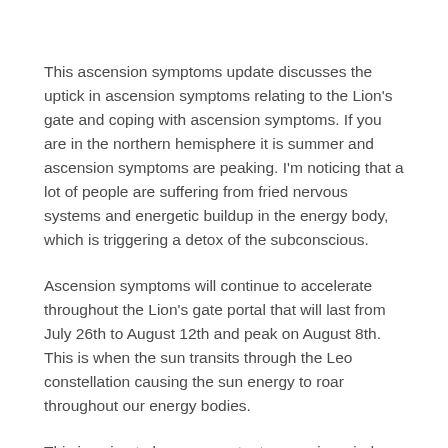This ascension symptoms update discusses the uptick in ascension symptoms relating to the Lion's gate and coping with ascension symptoms. If you are in the northern hemisphere it is summer and ascension symptoms are peaking. I'm noticing that a lot of people are suffering from fried nervous systems and energetic buildup in the energy body, which is triggering a detox of the subconscious.
Ascension symptoms will continue to accelerate throughout the Lion's gate portal that will last from July 26th to August 12th and peak on August 8th. This is when the sun transits through the Leo constellation causing the sun energy to roar throughout our energy bodies.
This is going to be a very potent ascension window. I